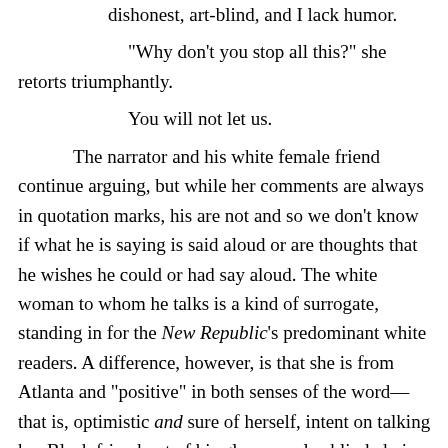dishonest, art-blind, and I lack humor.
“Why don’t you stop all this?” she retorts triumphantly.
You will not let us.
The narrator and his white female friend continue arguing, but while her comments are always in quotation marks, his are not and so we don’t know if what he is saying is said aloud or are thoughts that he wishes he could or had say aloud. The white woman to whom he talks is a kind of surrogate, standing in for the New Republic’s predominant white readers. A difference, however, is that she is from Atlanta and “positive” in both senses of the word—that is, optimistic and sure of herself, intent on talking her Black friend out of his gloomy color-blinded view of the world. The